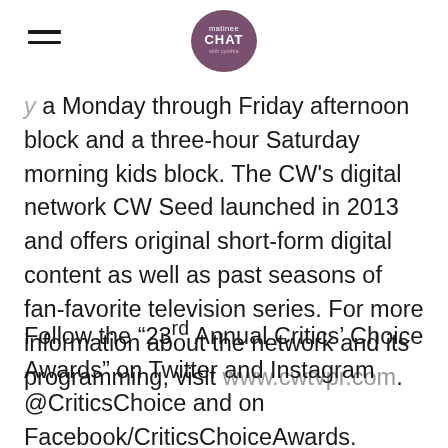matinee CHAT
a Monday through Friday afternoon block and a three-hour Saturday morning kids block. The CW’s digital network CW Seed launched in 2013 and offers original short-form digital content as well as past seasons of fan-favorite television series. For more information about the network and its programming, visit www.cwtvpr.com.
Follow the “23rd Annual Critics’ Choice Awards” on Twitter and Instagram @CriticsChoice and on Facebook/CriticsChoiceAwards.